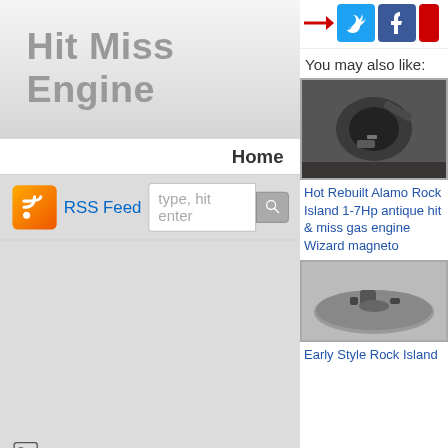Hit Miss Engine
Home
[Figure (screenshot): RSS feed icon (orange gradient with wifi symbol)]
RSS Feed
type, hit enter
Log in
© Copyright 2022 Hit Miss Engine
Theme by zwwooooo & schiy
| Powered by WordPress
[Figure (screenshot): Social media share buttons: Twitter (blue), Facebook (dark blue), and a partial red button, with a red arrow pointing right]
You may also like:
[Figure (photo): Photo of a Hot Rebuilt Alamo Rock Island antique hit and miss gas engine with Wizard magneto]
Hot Rebuilt Alamo Rock Island 1-7Hp antique hit & miss gas engine Wizard magneto
[Figure (photo): Photo of an Early Style Rock Island antique engine part on a round metal plate]
Early Style Rock Island